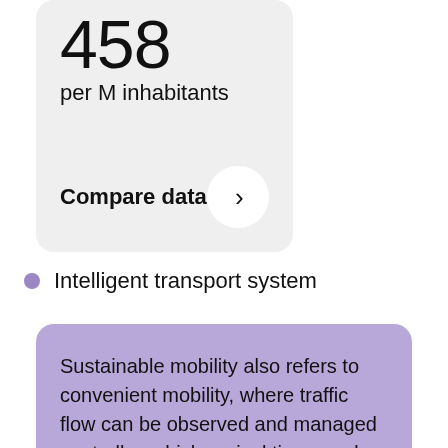458
per M inhabitants
Compare data
Intelligent transport system
Sustainable mobility also refers to convenient mobility, where traffic flow can be observed and managed centrally, vehicle arrival times and locations can be predicted for smooth